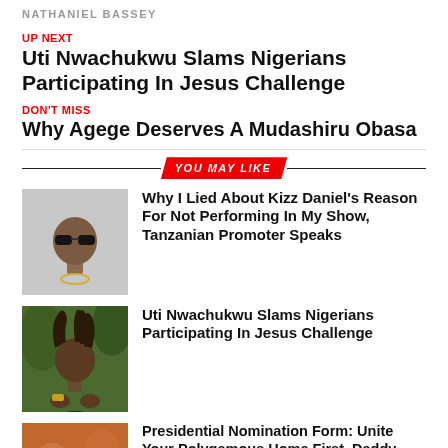NATHANIEL BASSEY
UP NEXT
Uti Nwachukwu Slams Nigerians Participating In Jesus Challenge
DON'T MISS
Why Agege Deserves A Mudashiru Obasa
YOU MAY LIKE
[Figure (photo): Photo of a man in sunglasses and black outfit with chain necklace]
Why I Lied About Kizz Daniel's Reason For Not Performing In My Show, Tanzanian Promoter Speaks
[Figure (photo): Photo of a man with dreadlocks and watch]
Uti Nwachukwu Slams Nigerians Participating In Jesus Challenge
[Figure (photo): Photo of a person with colorful background]
Presidential Nomination Form: Unite Your Polygamous Home First, Daddy Freeze Tells…